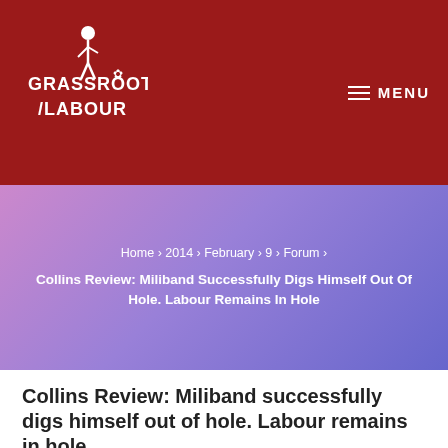Grassroots Labour — MENU
Home › 2014 › February › 9 › Forum › Collins Review: Miliband Successfully Digs Himself Out Of Hole. Labour Remains In Hole
Collins Review: Miliband successfully digs himself out of hole. Labour remains in hole
Forum  9 February 2014
By Jon Lansman